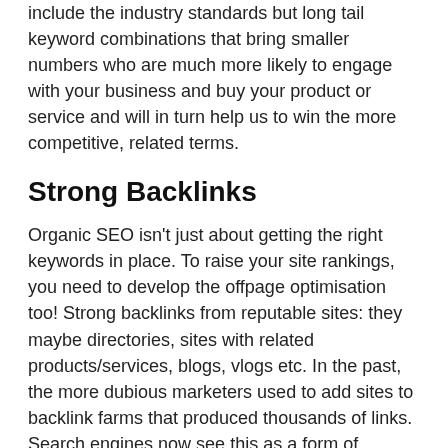include the industry standards but long tail keyword combinations that bring smaller numbers who are much more likely to engage with your business and buy your product or service and will in turn help us to win the more competitive, related terms.
Strong Backlinks
Organic SEO isn't just about getting the right keywords in place. To raise your site rankings, you need to develop the offpage optimisation too! Strong backlinks from reputable sites: they maybe directories, sites with related products/services, blogs, vlogs etc. In the past, the more dubious marketers used to add sites to backlink farms that produced thousands of links. Search engines now see this as a form of spamming and are now far more likely to penalise your rank, some even disappear from the listings altogether. Links to and from relevant, high reputation websites are still key and we can develop the linking strategy that increases your organic ranking whilst bringing relevant traffic to your site.